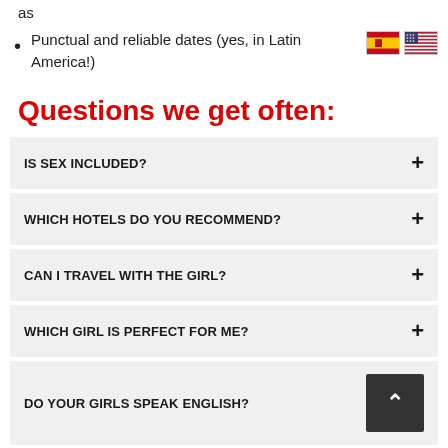as
Punctual and reliable dates (yes, in Latin America!)
Questions we get often:
IS SEX INCLUDED?
WHICH HOTELS DO YOU RECOMMEND?
CAN I TRAVEL WITH THE GIRL?
WHICH GIRL IS PERFECT FOR ME?
DO YOUR GIRLS SPEAK ENGLISH?
HOW DO I RATE A GIRL?